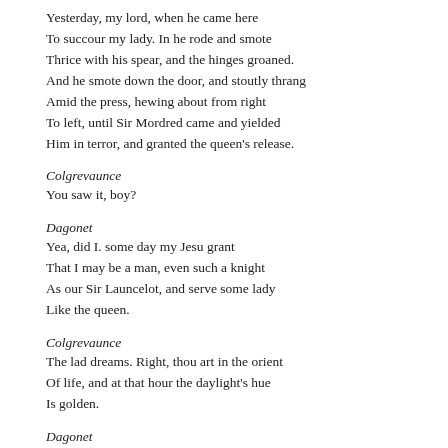Yesterday, my lord, when he came here
To succour my lady. In he rode and smote
Thrice with his spear, and the hinges groaned.
And he smote down the door, and stoutly thrang
Amid the press, hewing about from right
To left, until Sir Mordred came and yielded
Him in terror, and granted the queen's release.
Colgrevaunce
You saw it, boy?
Dagonet
Yea, did I. some day my Jesu grant
That I may be a man, even such a knight
As our Sir Launcelot, and serve some lady
Like the queen.
Colgrevaunce
The lad dreams. Right, thou art in the orient
Of life, and at that hour the daylight's hue
Is golden.
Dagonet